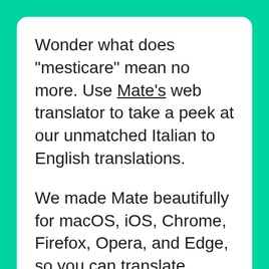Wonder what does "mesticare" mean no more. Use Mate's web translator to take a peek at our unmatched Italian to English translations.
We made Mate beautifully for macOS, iOS, Chrome, Firefox, Opera, and Edge, so you can translate anywhere there's text. No more app, browser tab switching, or copy-pasting.
The most advanced machine translation power right where you need it. Effortlessly translate